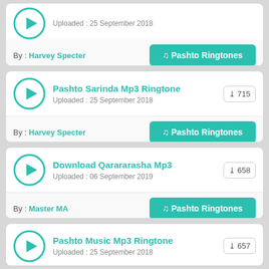Uploaded : 25 September 2018 | By : Harvey Specter | Pashto Ringtones
Pashto Sarinda Mp3 Ringtone | Download: 715 | Uploaded : 25 September 2018 | By : Harvey Specter | Pashto Ringtones
Download Qarararasha Mp3 | Download: 658 | Uploaded : 06 September 2019 | By : Master MA | Pashto Ringtones
Pashto Music Mp3 Ringtone | Download: 657 | Uploaded : 25 September 2018